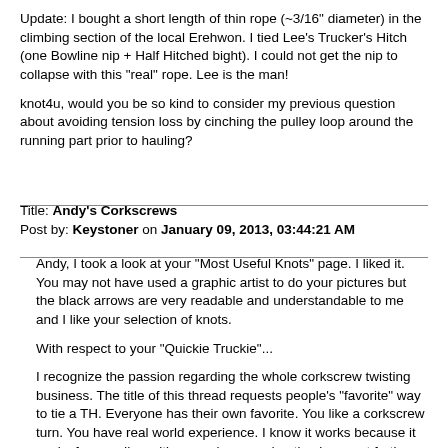Update:  I bought a short length of thin rope (~3/16" diameter) in the climbing section of the local Erehwon.  I tied Lee's Trucker's Hitch (one Bowline nip + Half Hitched bight).  I could not get the nip to collapse with this "real" rope.  Lee is the man!
knot4u, would you be so kind to consider my previous question about avoiding tension loss by cinching the pulley loop around the running part prior to hauling?
Title: Andy's Corkscrews
Post by: Keystoner on January 09, 2013, 03:44:21 AM
Andy, I took a look at your "Most Useful Knots" page.  I liked it.  You may not have used a graphic artist to do your pictures but the black arrows are very readable and understandable to me and I like your selection of knots.
With respect to your "Quickie Truckie"...
I recognize the passion regarding the whole corkscrew twisting business.  The title of this thread requests people's "favorite" way to tie a TH.  Everyone has their own favorite.  You like a corkscrew turn.  You have real world experience.  I know it works because it works for you.  I'm writing now because I noticed you put forth Lee's Trucker's Hitch YouTube video as an example of your corkscrew method.  I know there was a debate as to whether Lee actually did a corkscrew turn and you implored others to take a closer look at his video to verify